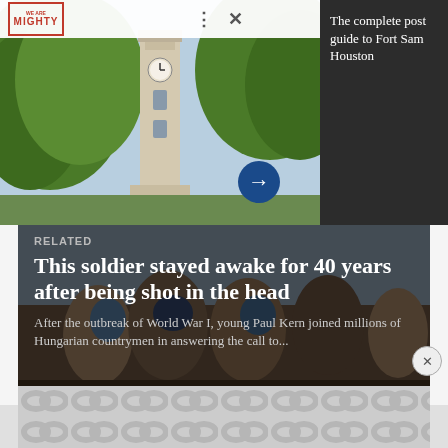[Figure (photo): Top image showing a clock tower at Fort Sam Houston surrounded by green trees, with a close-button UI overlay and a dark panel on the right.]
The complete post guide to Fort Sam Houston
[Figure (photo): Article card with a painted mural background showing WWI soldiers in battle.]
RELATED
This soldier stayed awake for 40 years after being shot in the head
After the outbreak of World War I, young Paul Kern joined millions of Hungarian countrymen in answering the call to...
[Figure (photo): Second article card with a snowy forest background.]
RELATED
BAE won the Army's $278 million
[Figure (other): Bottom advertisement banner with repeating chain-link/ring pattern on grey background.]